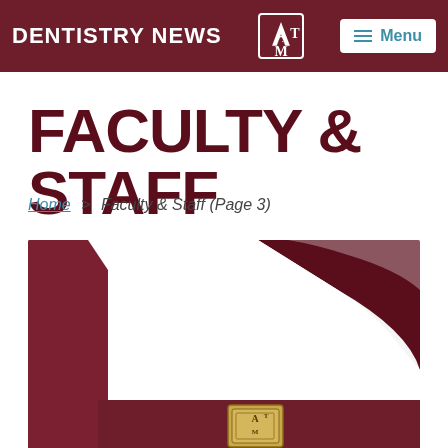DENTISTRY NEWS
FACULTY & STAFF
Home > Faculty & Staff (Page 3)
[Figure (photo): Close-up photo of an open maroon gift/ring box with white interior, showing a Texas A&M University ATM logo medallion or pin inside, photographed on a white background.]